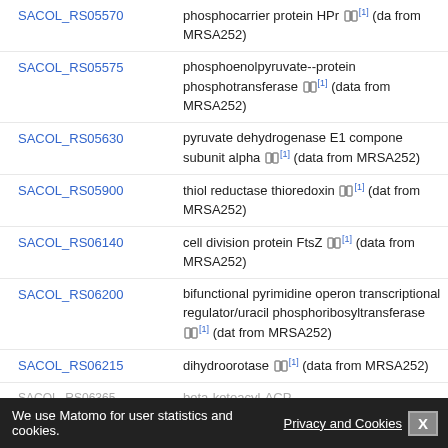SACOL_RS05570 — phosphocarrier protein HPr [1] (data from MRSA252)
SACOL_RS05575 — phosphoenolpyruvate--protein phosphotransferase [1] (data from MRSA252)
SACOL_RS05630 — pyruvate dehydrogenase E1 component subunit alpha [1] (data from MRSA252)
SACOL_RS05900 — thiol reductase thioredoxin [1] (data from MRSA252)
SACOL_RS06140 — cell division protein FtsZ [1] (data from MRSA252)
SACOL_RS06200 — bifunctional pyrimidine operon transcriptional regulator/uracil phosphoribosyltransferase [1] (data from MRSA252)
SACOL_RS06215 — dihydroorotase [1] (data from MRSA252)
SACOL_RS06365 — beta-ketoacyl-ACP ... [1] (data from MRSA252)
SACOL_RS06375 — acyl-... [1]
We use Matomo for user statistics and cookies.  Privacy and Cookies  X